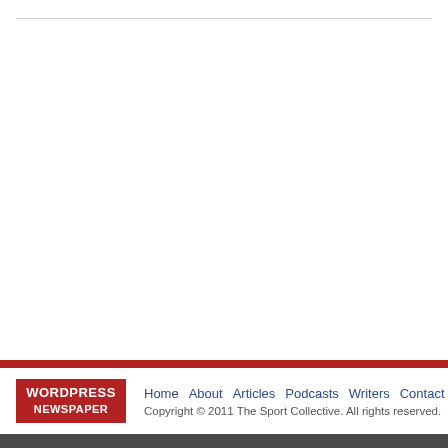WORDPRESS NEWSPAPER | Home About Articles Podcasts Writers Contact | Copyright © 2011 The Sport Collective. All rights reserved.